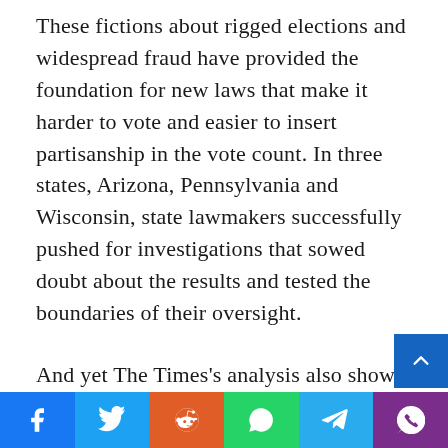These fictions about rigged elections and widespread fraud have provided the foundation for new laws that make it harder to vote and easier to insert partisanship in the vote count. In three states, Arizona, Pennsylvania and Wisconsin, state lawmakers successfully pushed for investigations that sowed doubt about the results and tested the boundaries of their oversight.
And yet The Times's analysis also shows that these efforts have encountered significant resistance from key Republican figures, as well as Democrats. In most states, the lawmakers who challenged the 2020 results do not yet have the numbers, or the support of governors, secretaries of state or legislative leaders, to achieve their most audacious aims.